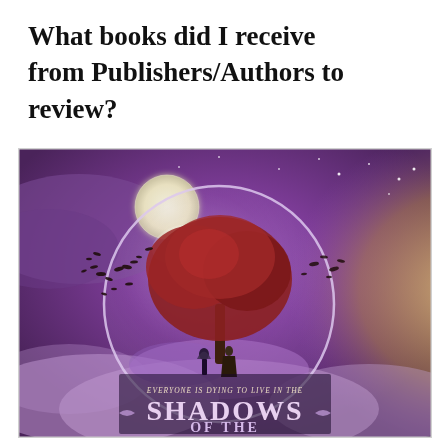What books did I receive from Publishers/Authors to review?
[Figure (illustration): Book cover for 'Shadows of the...' featuring a fantasy scene with a glowing tree inside a crystal globe/bubble, set against a purple and golden cloudy sky with a full moon. Two figures stand beneath the tree. Text on the cover reads 'EVERYONE IS DYING TO LIVE IN THE SHADOWS OF THE...']